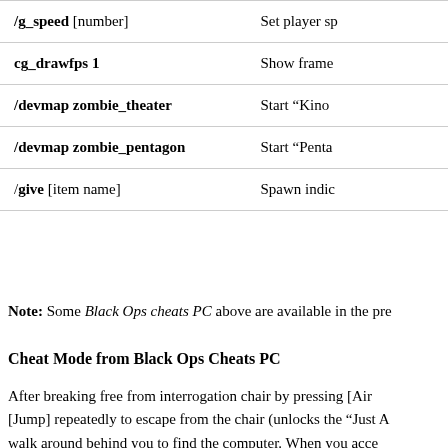| Command | Description |
| --- | --- |
| /g_speed [number] | Set player sp... |
| cg_drawfps 1 | Show frame... |
| /devmap zombie_theater | Start “Kino... |
| /devmap zombie_pentagon | Start “Penta... |
| /give [item name] | Spawn indic... |
Note: Some Black Ops cheats PC above are available in the pre...
Cheat Mode from Black Ops Cheats PC
After breaking free from interrogation chair by pressing [Air... [Jump] repeatedly to escape from the chair (unlocks the “Just A... walk around behind you to find the computer. When you acce... cheats PC to get hidden features and early unlockables in the ga...